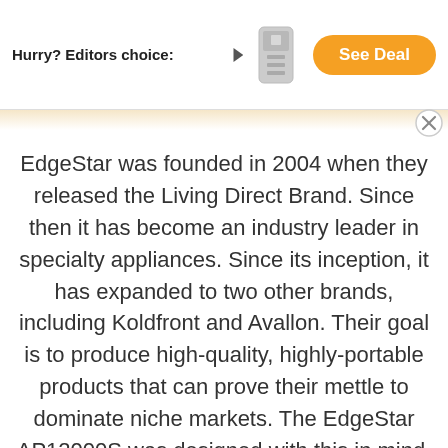[Figure (infographic): Ad banner showing 'Hurry? Editors choice:' label with an arrow pointing to a product image (portable AC unit) and an orange 'See Deal' button on the right. A circular close button (X) is at the right edge below the banner.]
EdgeStar was founded in 2004 when they released the Living Direct Brand. Since then it has become an industry leader in specialty appliances. Since its inception, it has expanded to two other brands, including Koldfront and Avallon. Their goal is to produce high-quality, highly-portable products that can prove their mettle to dominate niche markets. The EdgeStar AP12000S was designed with this in mind.